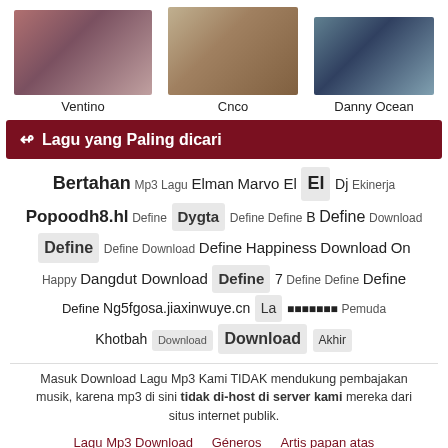[Figure (photo): Three artist photo thumbnails: Ventino (two women), Cnco (group of men), Danny Ocean (man outdoors)]
Ventino
Cnco
Danny Ocean
Lagu yang Paling dicari
Bertahan Mp3 Lagu Elman Marvo El El Dj Ekinerja Popoodh8.hl Define Dygta Define Define B Define Download Define Define Download Define Happiness Download On Happy Dangdut Download Define 7 Define Define Define Define Ng5fgosa.jiaxinwuye.cn La ▪▪▪▪▪▪▪ Pemuda Khotbah Download Download Akhir
Masuk Download Lagu Mp3 Kami TIDAK mendukung pembajakan musik, karena mp3 di sini tidak di-host di server kami mereka dari situs internet publik.
Lagu Mp3 Download  Géneros  Artis papan atas  Lagu-lagu top  DMCA  Ketentuan penggunaan